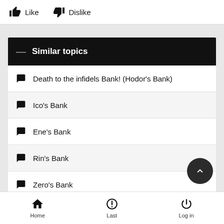Like   Dislike
Similar topics
Death to the infidels Bank! (Hodor's Bank)
Ico's Bank
Ene's Bank
Rin's Bank
Zero's Bank
Home   Last   Log in